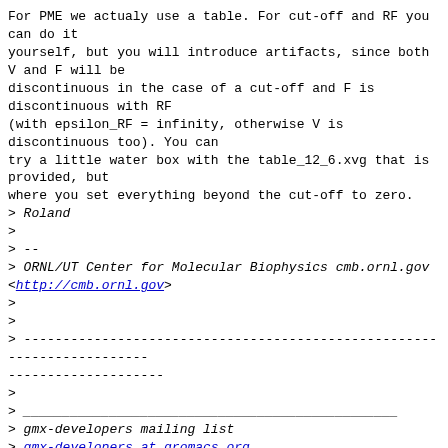For PME we actualy use a table. For cut-off and RF you can do it
yourself, but you will introduce artifacts, since both V and F will be
discontinuous in the case of a cut-off and F is discontinuous with RF
(with epsilon_RF = infinity, otherwise V is discontinuous too). You can
try a little water box with the table_12_6.xvg that is provided, but
where you set everything beyond the cut-off to zero.
> Roland
>
> --
> ORNL/UT Center for Molecular Biophysics cmb.ornl.gov <http://cmb.ornl.gov>
>
>
> -----------------------------------------------------------------------
>
>
> gmx-developers mailing list
> gmx-developers at gromacs.org
> http://www.gromacs.org/mailman/listinfo/gmx-developers
> Please don't post (un)subscribe requests to the list. Use the
> www interface or send it to gmx-developers-request at gromacs.org.